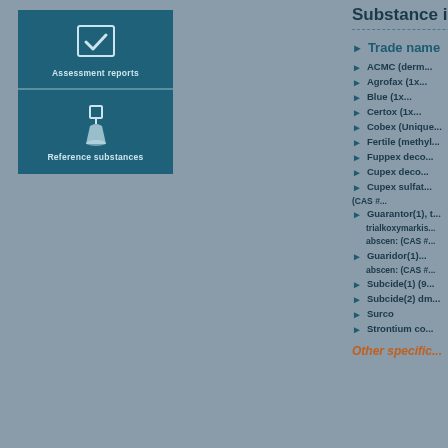[Figure (illustration): Teal icon box with checkmark icon labeled 'Assessment reports']
[Figure (illustration): Teal icon box with flask/beaker icon labeled 'Reference substances']
Substance i...
Trade name
ACMC (derm...
Agrofax (1x...
Blue (1x...
Certox (1x...
Cobex (Unique...
Fertile (methyl...
Fuppex deco...
Cupex deco...
Cupex sulfat... (CAS #...
Guarantor(1)... trialkoxymarkis... abscen: (CAS #...
Guaridor(1)... abscen: (CAS #...
Subcide(1) (9...
Subcide(2) dm...
Surco
Strontium co...
Other specific...